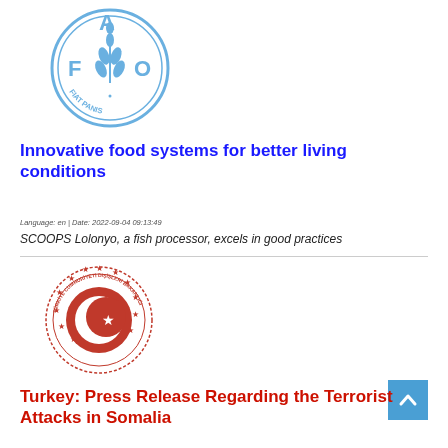[Figure (logo): FAO (Food and Agriculture Organization) circular logo in blue. Shows letters F, A, O with wheat motif and text FIAT PANIS around the bottom.]
Innovative food systems for better living conditions
Language: en | Date: 2022-09-04 09:13:49
SCOOPS Lolonyo, a fish processor, excels in good practices
[Figure (logo): Turkish Ministry of Foreign Affairs circular seal in red. Features crescent and star (Turkish flag motif) in the center, with text TÜRKİYE CUMHURİYETİ DIŞİŞLERİ BAKANLIĞI around the border with stars.]
Turkey: Press Release Regarding the Terrorist Attacks in Somalia